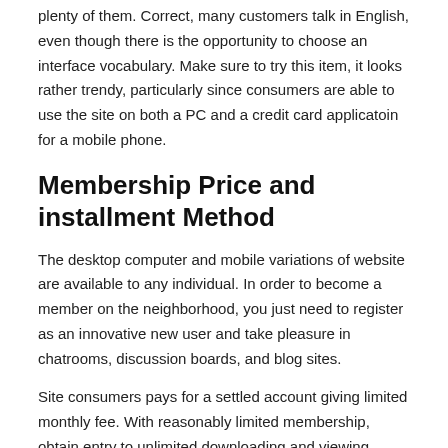plenty of them. Correct, many customers talk in English, even though there is the opportunity to choose an interface vocabulary. Make sure to try this item, it looks rather trendy, particularly since consumers are able to use the site on both a PC and a credit card applicatoin for a mobile phone.
Membership Price and installment Method
The desktop computer and mobile variations of website are available to any individual. In order to become a member on the neighborhood, you just need to register as an innovative new user and take pleasure in chatrooms, discussion boards, and blog sites.
Site consumers pays for a settled account giving limited monthly fee. With reasonably limited membership, obtain entry to unlimited downloading and viewing pictures, special features, in addition to electric notes without constraints.